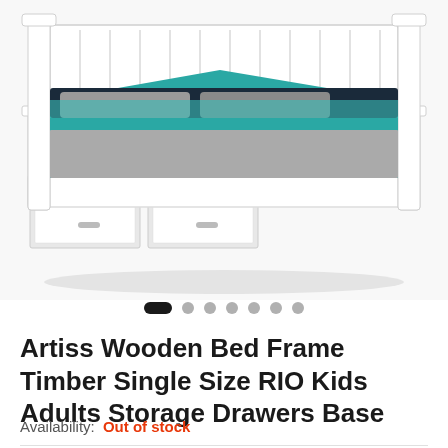[Figure (photo): White wooden single bed frame with storage drawers underneath, dressed with teal and grey bedding, photographed on a white background.]
• • • • • • • (image carousel dots, first dot active/elongated)
Artiss Wooden Bed Frame Timber Single Size RIO Kids Adults Storage Drawers Base
Availability: Out of stock
Or $61.27 today and spread the rest with openpay Learn more